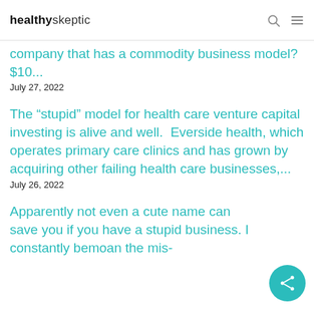healthyskeptic
company that has a commodity business model?  $10...
July 27, 2022
The “stupid” model for health care venture capital investing is alive and well.  Everside health, which operates primary care clinics and has grown by acquiring other failing health care businesses,...
July 26, 2022
Apparently not even a cute name can save you if you have a stupid business.  I constantly bemoan the mis-